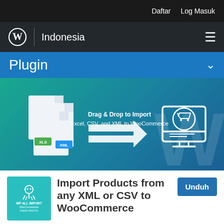Daftar   Log Masuk
[Figure (logo): WordPress logo circle with Indonesia site name and hamburger menu on dark header bar]
Plugin
[Figure (screenshot): Hero banner showing file icons (XLS, CSV, XML) with arrows pointing to a WooCommerce shopping cart monitor icon, with text: Drag & Drop to Import Excel, CSV, and XML to WooCommerce]
[Figure (logo): WP ALL IMPORT WooCommerce Import Add-On teal square icon]
Import Products from any XML or CSV to WooCommerce
Unduh